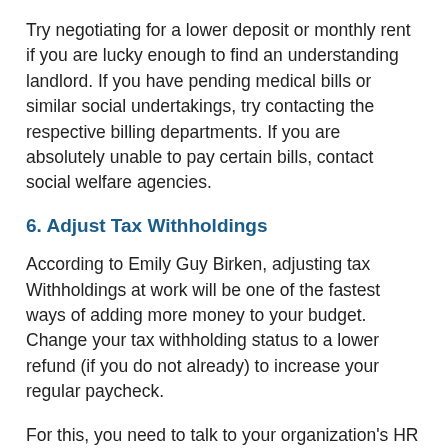Try negotiating for a lower deposit or monthly rent if you are lucky enough to find an understanding landlord. If you have pending medical bills or similar social undertakings, try contacting the respective billing departments. If you are absolutely unable to pay certain bills, contact social welfare agencies.
6. Adjust Tax Withholdings
According to Emily Guy Birken, adjusting tax Withholdings at work will be one of the fastest ways of adding more money to your budget. Change your tax withholding status to a lower refund (if you do not already) to increase your regular paycheck.
For this, you need to talk to your organization's HR department. They will be able to guide you through this process with additional help from the IRS (Tax withholding Estimator) calculator. The IRS